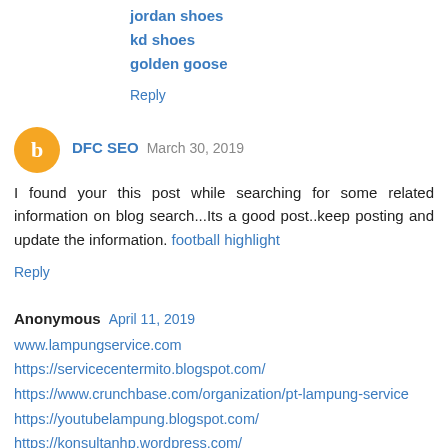jordan shoes
kd shoes
golden goose
Reply
DFC SEO  March 30, 2019
I found your this post while searching for some related information on blog search...Its a good post..keep posting and update the information. football highlight
Reply
Anonymous  April 11, 2019
www.lampungservice.com
https://servicecentermito.blogspot.com/
https://www.crunchbase.com/organization/pt-lampung-service
https://youtubelampung.blogspot.com/
https://konsultanhp.wordpress.com/
https://komunitasyoutuberindonesia.wordpress.com